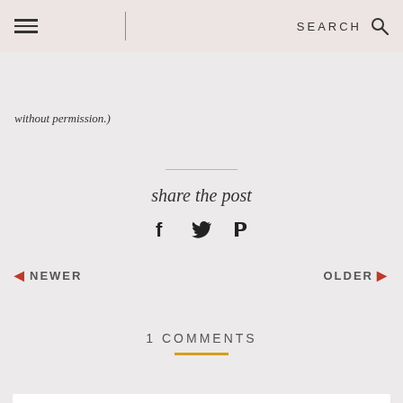SEARCH
without permission.)
share the post
◀ NEWER    OLDER ▶
1 COMMENTS
LillianZahra  29 May 2019 at 16:39